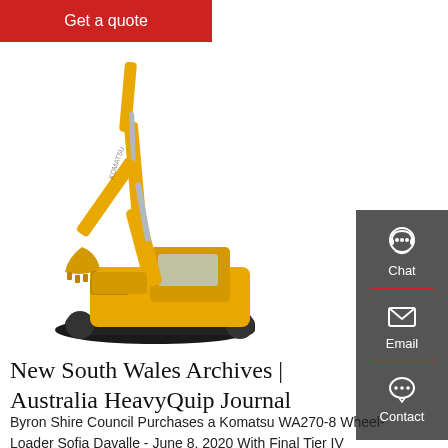[Figure (other): Red 'Get a quote' button at top left]
[Figure (photo): Yellow Komatsu excavator/crawler hydraulic excavator on white background, arm raised upward]
[Figure (infographic): Dark gray sidebar with Chat (headset icon), Email (envelope icon), and Contact (speech bubble icon) buttons with red dividers]
New South Wales Archives | Australia HeavyQuip Journal
Byron Shire Council Purchases a Komatsu WA270-8 Wheel-Loader Sofia Davalle - June 8, 2020 With Final Tier IV